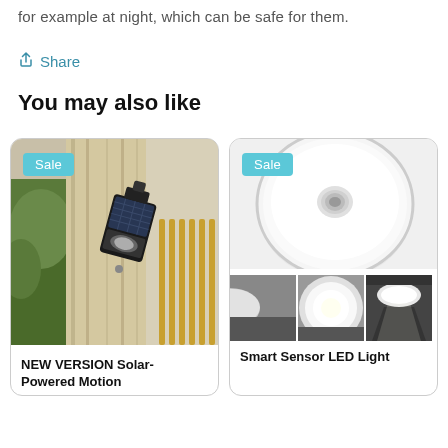for example at night, which can be safe for them.
Share
You may also like
[Figure (photo): Photo of a solar-powered motion sensor light mounted on a wooden wall/post outdoors, with a 'Sale' badge overlay.]
[Figure (photo): Photo of a round white smart sensor LED ceiling light (top view) with a 'Sale' badge, plus 3 smaller thumbnail photos below showing the light in use.]
NEW VERSION Solar-Powered Motion
Smart Sensor LED Light